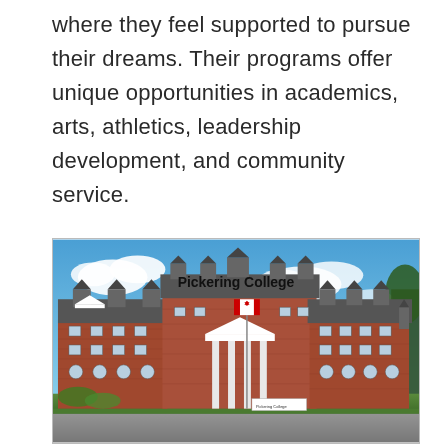where they feel supported to pursue their dreams. Their programs offer unique opportunities in academics, arts, athletics, leadership development, and community service.
[Figure (photo): Photograph of Pickering College building — a large red-brick multi-story institutional structure with white columns at the entrance, dormers on the roof, and a Canadian flag on a flagpole in front. Blue sky with clouds in the background. Text 'Pickering College' overlaid in bold black on the sky area.]